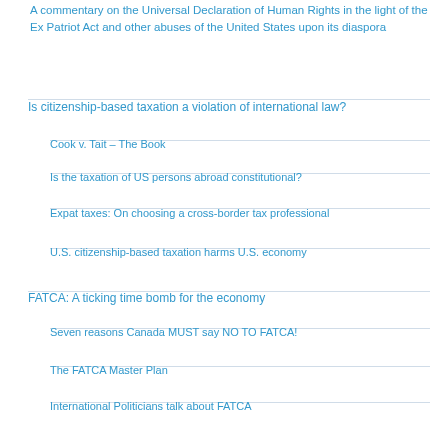A commentary on the Universal Declaration of Human Rights in the light of the Ex Patriot Act and other abuses of the United States upon its diaspora
Is citizenship-based taxation a violation of international law?
Cook v. Tait – The Book
Is the taxation of US persons abroad constitutional?
Expat taxes: On choosing a cross-border tax professional
U.S. citizenship-based taxation harms U.S. economy
FATCA: A ticking time bomb for the economy
Seven reasons Canada MUST say NO TO FATCA!
The FATCA Master Plan
International Politicians talk about FATCA